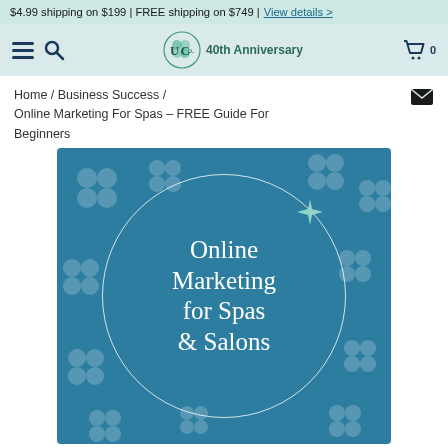$4.99 shipping on $199 | FREE shipping on $749 | View details >
UCo. 40th Anniversary — navigation bar with hamburger menu, search, logo, cart (0)
Home / Business Success / Online Marketing For Spas – FREE Guide For Beginners
[Figure (illustration): Teal square book cover image with a decorative clover/quatrefoil pattern background. A white circle outline contains white serif text reading 'Online Marketing for Spas & Salons' with a teal sparkle/star accent in the upper right of the circle.]